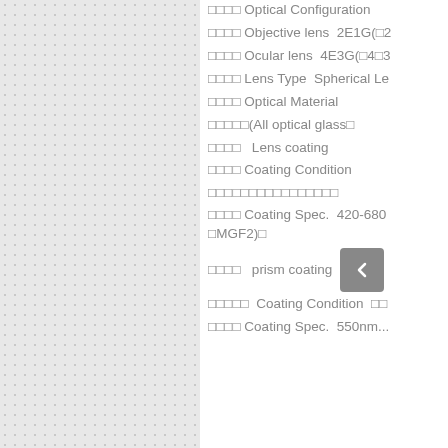□□□□ Optical Configuration
□□□□ Objective lens  2E1G(□2...
□□□□ Ocular lens  4E3G(□4□3...
□□□□ Lens Type  Spherical Le...
□□□□ Optical Material
□□□□□(All optical glass□
□□□□   Lens coating
□□□□ Coating Condition
□□□□□□□□□□□□□□□□
□□□□ Coating Spec.  420-680 □MGF2)□
□□□□   prism coating
□□□□□  Coating Condition  □□...
□□□□ Coating Spec.  550nm...